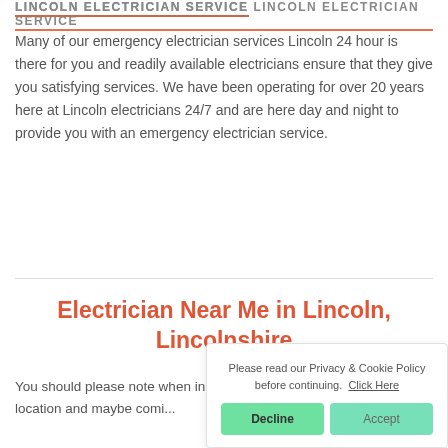LINCOLN ELECTRICIAN SERVICE
Many of our emergency electrician services Lincoln 24 hour is there for you and readily available electricians ensure that they give you satisfying services. We have been operating for over 20 years here at Lincoln electricians 24/7 and are here day and night to provide you with an emergency electrician service.
Electrician Near Me in Lincoln, Lincolnshire
You should please note when in Lincoln that we are a large c... your location and maybe comi...
Please read our Privacy & Cookie Policy before continuing. Click Here
Decline   Accept